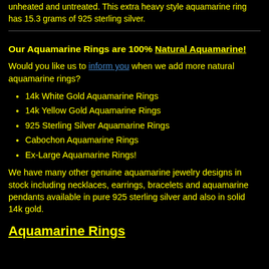unheated and untreated. This extra heavy style aquamarine ring has 15.3 grams of 925 sterling silver.
Our Aquamarine Rings are 100% Natural Aquamarine!
Would you like us to inform you when we add more natural aquamarine rings?
14k White Gold Aquamarine Rings
14k Yellow Gold Aquamarine Rings
925 Sterling Silver Aquamarine Rings
Cabochon Aquamarine Rings
Ex-Large Aquamarine Rings!
We have many other genuine aquamarine jewelry designs in stock including necklaces, earrings, bracelets and aquamarine pendants available in pure 925 sterling silver and also in solid 14k gold.
Aquamarine Rings